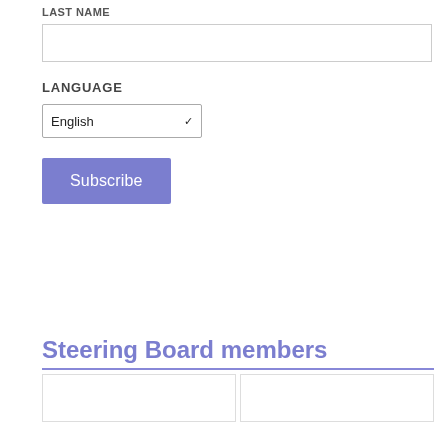LAST NAME
[Figure (other): Empty text input box for last name field]
LANGUAGE
[Figure (other): Dropdown select box showing 'English' with chevron arrow]
[Figure (other): Blue 'Subscribe' button]
Steering Board members
[Figure (other): Two card boxes side by side at the bottom of the page]